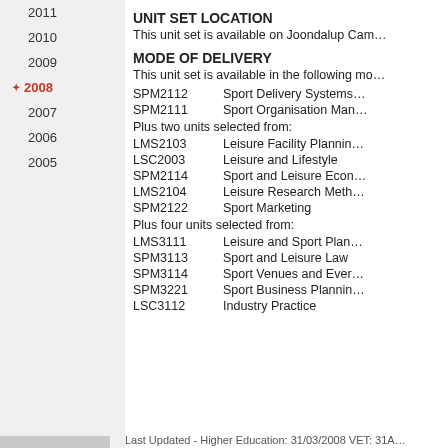2011
2010
2009
2008 (active/current)
2007
2006
2005
UNIT SET LOCATION
This unit set is available on Joondalup Camp…
MODE OF DELIVERY
This unit set is available in the following mo…
| Code | Name |
| --- | --- |
| SPM2112 | Sport Delivery Systems… |
| SPM2111 | Sport Organisation Man… |
Plus two units selected from:
| Code | Name |
| --- | --- |
| LMS2103 | Leisure Facility Plannin… |
| LSC2003 | Leisure and Lifestyle |
| SPM2114 | Sport and Leisure Econ… |
| LMS2104 | Leisure Research Meth… |
| SPM2122 | Sport Marketing |
Plus four units selected from:
| Code | Name |
| --- | --- |
| LMS3111 | Leisure and Sport Plan… |
| SPM3113 | Sport and Leisure Law |
| SPM3114 | Sport Venues and Ever… |
| SPM3221 | Sport Business Plannin… |
| LSC3112 | Industry Practice |
Last Updated - Higher Education: 31/03/2008 VET: 31A…